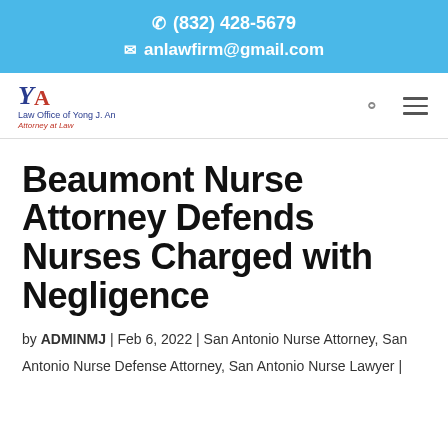✆ (832) 428-5679 ✉ anlawfirm@gmail.com
[Figure (logo): YA Law Office of Yong J. An Attorney at Law logo with blue Y and red A letters]
Beaumont Nurse Attorney Defends Nurses Charged with Negligence
by ADMINMJ | Feb 6, 2022 | San Antonio Nurse Attorney, San Antonio Nurse Defense Attorney, San Antonio Nurse Lawyer |